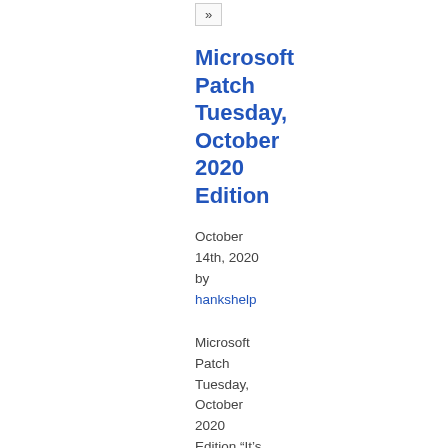»
Microsoft Patch Tuesday, October 2020 Edition
October 14th, 2020
by
hankshelp
Microsoft Patch Tuesday, October 2020 Edition “It’s Cybersecurity Awareness Month! In